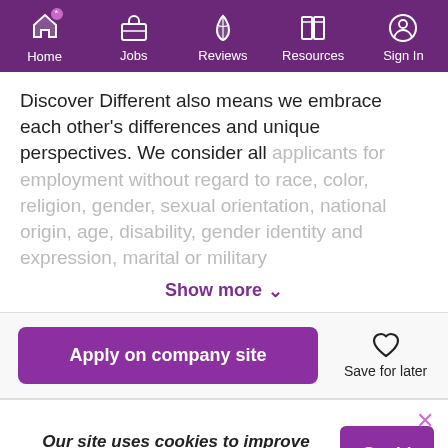Home | Jobs | Reviews | Resources | Sign In
Discover Different also means we embrace each other's differences and unique perspectives. We consider all applicants for employment without regard to race, color, religion, gender, sexual orientation, national origin, age, disability, gender identity and expression, marital or military
Show more
Apply on company site
Save for later
Our site uses cookies to improve your experience. Read More
Got It!